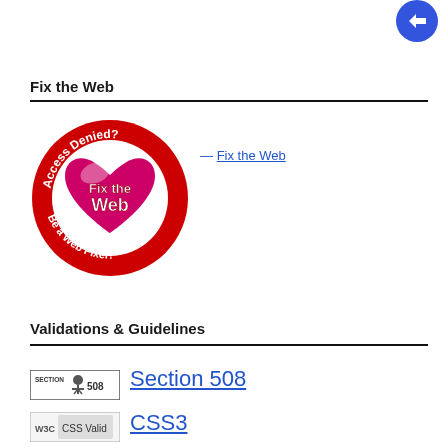[Figure (logo): Blue circle with white arrow/link icon in top right corner]
Fix the Web
[Figure (logo): Fix the Web circular badge: red circle with heart, text 'Access Denied? Fix the Web Be a Web Fixer!']
— Fix the Web
Validations & Guidelines
[Figure (logo): Section 508 badge with accessibility icon]
Section 508
[Figure (logo): W3C CSS3 validation badge]
CSS3